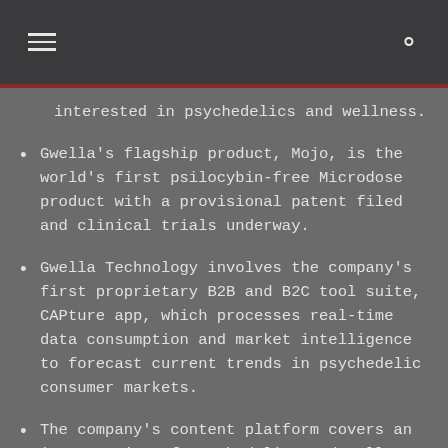interested in psychedelics and wellness.
Gwella's flagship product, Mojo, is the world's first psilocybin-free Microdose product with a provisional patent filed and clinical trials underway.
Gwella Technology involves the company's first proprietary B2B and B2C tool suite, CAPture app, which processes real-time data consumption and market intelligence to forecast current trends in psychedelic consumer markets.
The company's content platform covers an intersection of psychedelics and wellness through a media IP and emphasis on community creation.
The next steps for Gwella include focusing on